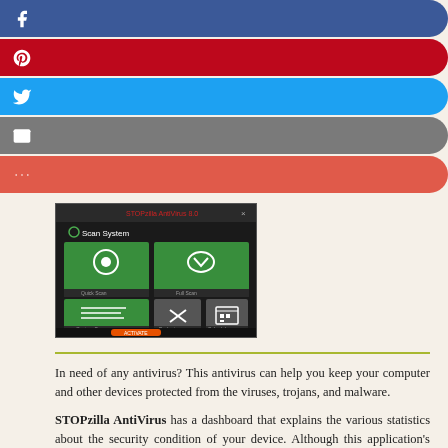[Figure (infographic): Social share buttons: Facebook (blue), Pinterest (dark red), Twitter (light blue), Email (grey), More (coral/red)]
[Figure (screenshot): STOPzilla AntiVirus application screenshot showing Scan System dashboard with green tiles for Quick Scan, Full Scan, Custom Scan, and scheduling options]
In need of any antivirus? This antivirus can help you keep your computer and other devices protected from the viruses, trojans, and malware.
STOPzilla AntiVirus has a dashboard that explains the various statistics about the security condition of your device. Although this application's interface is easy to handle in case of any difficulties, technical support provided by the application can be